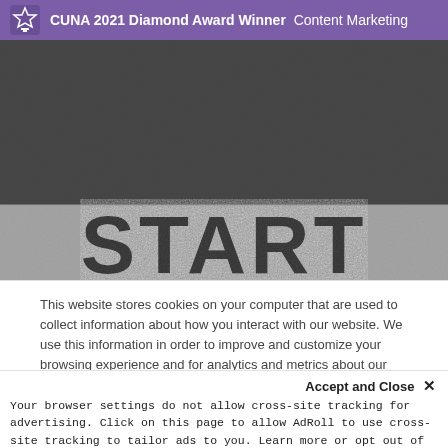CUNA 2021 Diamond Award Winner  Content Marketing
[Figure (photo): Asphalt surface photograph with the word START printed in large dark letters on a lighter stripe, viewed from above.]
This website stores cookies on your computer that are used to collect information about how you interact with our website. We use this information in order to improve and customize your browsing experience and for analytics and metrics about our visitors both on this website and other media. To find out more about privacy practices, see our Privacy Policy.
Accept and Close ✕
Your browser settings do not allow cross-site tracking for advertising. Click on this page to allow AdRoll to use cross-site tracking to tailor ads to you. Learn more or opt out of this AdRoll tracking by clicking here. This message only appears once.